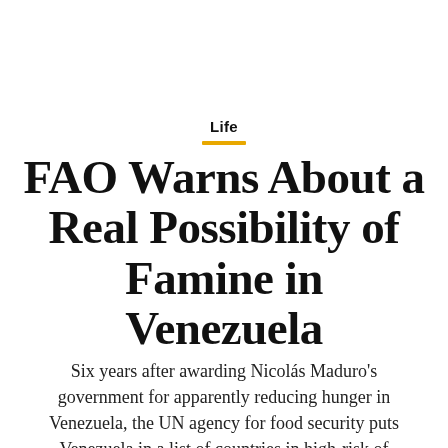Life
FAO Warns About a Real Possibility of Famine in Venezuela
Six years after awarding Nicolás Maduro’s government for apparently reducing hunger in Venezuela, the UN agency for food security puts Venezuela in a list of countries in high-risk of